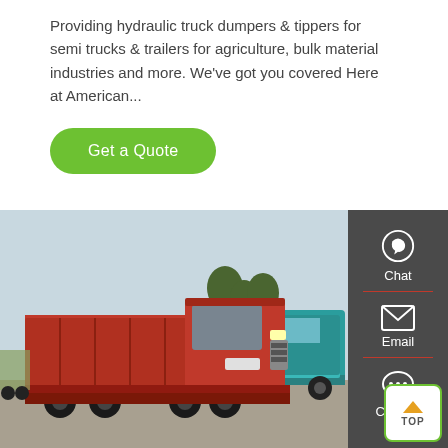Providing hydraulic truck dumpers & tippers for semi trucks & trailers for agriculture, bulk material industries and more. We've got you covered Here at American...
[Figure (other): Green rounded 'Get a Quote' button]
[Figure (photo): Red heavy-duty dump truck (HOWO) parked in a yard with a teal dump truck visible behind it, trees and utility poles in background]
[Figure (infographic): Dark grey sidebar with Chat (headset icon), Email (envelope icon), Contact (speech bubble icon) options and a green TOP button]